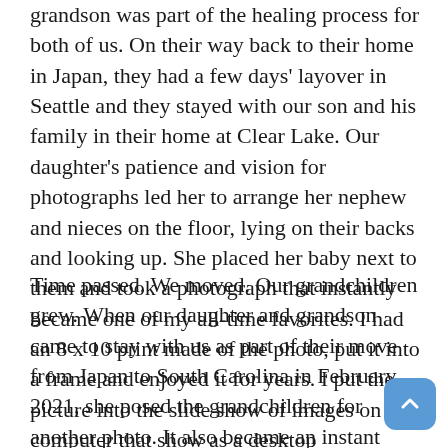grandson was part of the healing process for both of us. On their way back to their home in Japan, they had a few days' layover in Seattle and they stayed with our son and his family in their home at Clear Lake. Our daughter's patience and vision for photographs led her to arrange her nephew and nieces on the floor, lying on their backs and looking up. She placed her baby next to them and took a photograph that instantly became one of my all-time favorites. I had an 8 x 10 print made of the photo, put it into a frame and enjoyed it for years. I put the picture into the slide show of images on my computer that show as a desktop background. I even had it put onto my bank card when our bank offered custom bank cards as a free bonus.
Time passed. We moved. Our grandchildren grew. When our daughter and grandson came to stay with us as part of their move from Japan to South Carolina in February 2021, she posed the grandchildren for another photo. It also became an instant favorite of